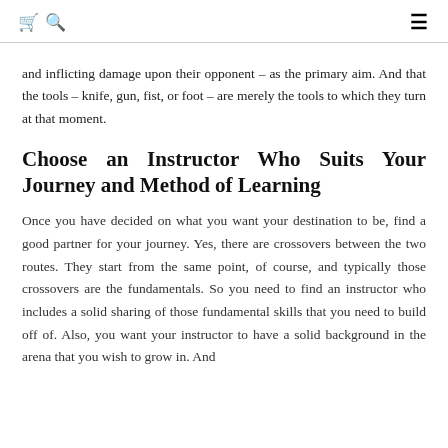🛒 🔍  ≡
and inflicting damage upon their opponent – as the primary aim. And that the tools – knife, gun, fist, or foot – are merely the tools to which they turn at that moment.
Choose an Instructor Who Suits Your Journey and Method of Learning
Once you have decided on what you want your destination to be, find a good partner for your journey. Yes, there are crossovers between the two routes. They start from the same point, of course, and typically those crossovers are the fundamentals. So you need to find an instructor who includes a solid sharing of those fundamental skills that you need to build off of. Also, you want your instructor to have a solid background in the arena that you wish to grow in. And